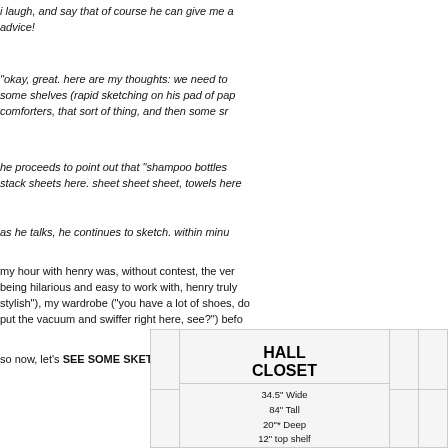i laugh, and say that of course he can give me advice!
“okay, great. here are my thoughts: we need to some shelves (rapid sketching on his pad of pap comforters, that sort of thing, and then some s…
he proceeds to point out that “shampoo bottles stack sheets here. sheet sheet sheet, towels here…
as he talks, he continues to sketch. within minu…
my hour with henry was, without contest, the ver being hilarious and easy to work with, henry truly stylish”), my wardrobe (“you have a lot of shoes, d put the vacuum and swiffer right here, see?”) befo…
so now, let’s SEE SOME SKETCHES, shall we?
[Figure (illustration): A hand-drawn closet sketch showing HALL CLOSET label with dimensions: 34.5" Wide, 84" Tall, 20" Deep, 12" top shelf. The sketch is shown partially with grid lines/sections.]